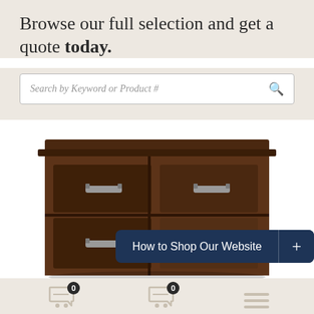Browse our full selection and get a quote today.
Search by Keyword or Product #
[Figure (photo): Dark walnut wood dresser with multiple drawers and silver bar handles, shown against a white background. Overlaid with a dark navy button reading 'How to Shop Our Website' with a plus sign.]
How to Shop Our Website +
CUSTOM QUOTE   OUTDOOR FURNITURE   MENU